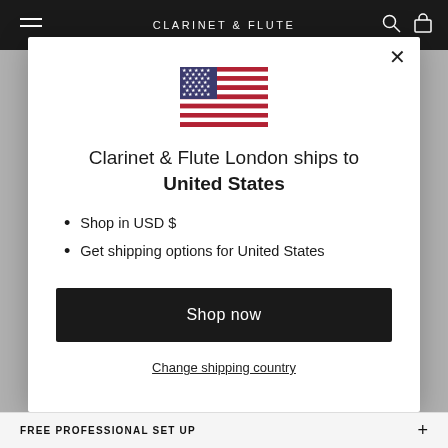CLARINET & FLUTE
[Figure (illustration): US flag SVG illustration]
Clarinet & Flute London ships to United States
Shop in USD $
Get shipping options for United States
Shop now
Change shipping country
FREE PROFESSIONAL SET UP